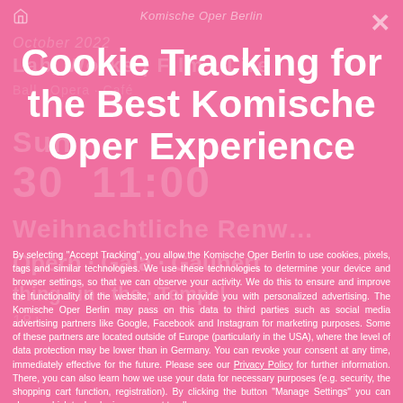Komische Oper Berlin
Cookie Tracking for the Best Komische Oper Experience
By selecting "Accept Tracking", you allow the Komische Oper Berlin to use cookies, pixels, tags and similar technologies. We use these technologies to determine your device and browser settings, so that we can observe your activity. We do this to ensure and improve the functionality of the website, and to provide you with personalized advertising. The Komische Oper Berlin may pass on this data to third parties such as social media advertising partners like Google, Facebook and Instagram for marketing purposes. Some of these partners are located outside of Europe (particularly in the USA), where the level of data protection may be lower than in Germany. You can revoke your consent at any time, immediately effective for the future. Please see our Privacy Policy for further information. There, you can also learn how we use your data for necessary purposes (e.g. security, the shopping cart function, registration). By clicking the button "Manage Settings" you can choose which technologies you want to allow.